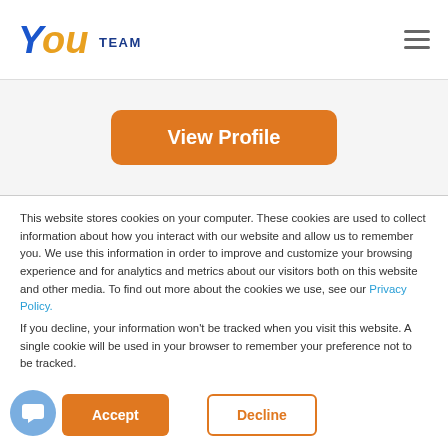YouTeam
[Figure (screenshot): Orange rounded 'View Profile' button on white background card section]
This website stores cookies on your computer. These cookies are used to collect information about how you interact with our website and allow us to remember you. We use this information in order to improve and customize your browsing experience and for analytics and metrics about our visitors both on this website and other media. To find out more about the cookies we use, see our Privacy Policy.
If you decline, your information won't be tracked when you visit this website. A single cookie will be used in your browser to remember your preference not to be tracked.
Accept
Decline